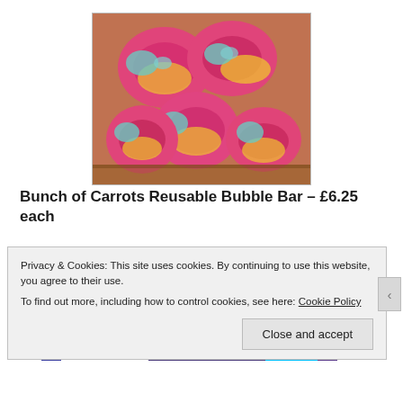[Figure (photo): Colorful pink, yellow, and teal bath bomb products (Bunch of Carrots Reusable Bubble Bar) in a wooden display box]
Bunch of Carrots Reusable Bubble Bar – £6.25 each
Privacy & Cookies: This site uses cookies. By continuing to use this website, you agree to their use.
To find out more, including how to control cookies, see here: Cookie Policy
Close and accept